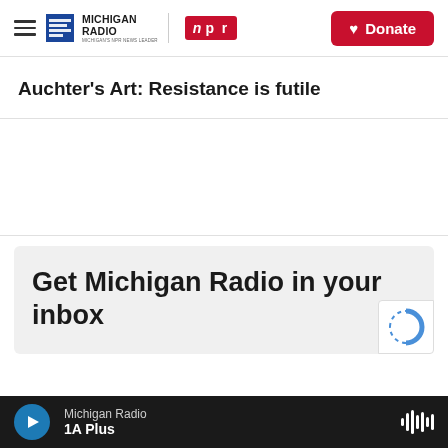Michigan Radio | NPR | Donate
Auchter's Art: Resistance is futile
Get Michigan Radio in your inbox
Michigan Radio | 1A Plus